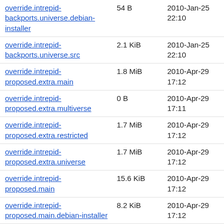| Name | Size | Date |
| --- | --- | --- |
| override.intrepid-backports.universe.debian-installer | 54 B | 2010-Jan-25 22:10 |
| override.intrepid-backports.universe.src | 2.1 KiB | 2010-Jan-25 22:10 |
| override.intrepid-proposed.extra.main | 1.8 MiB | 2010-Apr-29 17:12 |
| override.intrepid-proposed.extra.multiverse | 0 B | 2010-Apr-29 17:11 |
| override.intrepid-proposed.extra.restricted | 1.7 MiB | 2010-Apr-29 17:12 |
| override.intrepid-proposed.extra.universe | 1.7 MiB | 2010-Apr-29 17:12 |
| override.intrepid-proposed.main | 15.6 KiB | 2010-Apr-29 17:12 |
| override.intrepid-proposed.main.debian-installer | 8.2 KiB | 2010-Apr-29 17:12 |
| override.intrepid-proposed.main.src | 10.6 KiB | 2010-Apr-29 17:12 |
| override.intrepid-proposed.multiverse | 0 B | 2010-Apr-29 17:11 |
| override.intrepid-proposed.multiverse.src | 0 B | 2010-Apr-29 17:11 |
| override.intrepid-proposed.restricted | 538 B | 2010-Apr-29 |